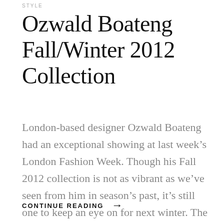STYLE
Ozwald Boateng Fall/Winter 2012 Collection
London-based designer Ozwald Boateng had an exceptional showing at last week’s London Fashion Week. Though his Fall 2012 collection is not as vibrant as we’ve seen from him in season’s past, it’s still one to keep an eye on for next winter. The warm fabrics and muted tones pl
CONTINUE READING →